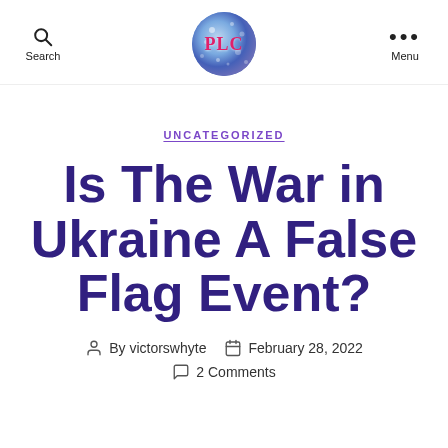Search | PLC | Menu
UNCATEGORIZED
Is The War in Ukraine A False Flag Event?
By victorswhyte   February 28, 2022
2 Comments